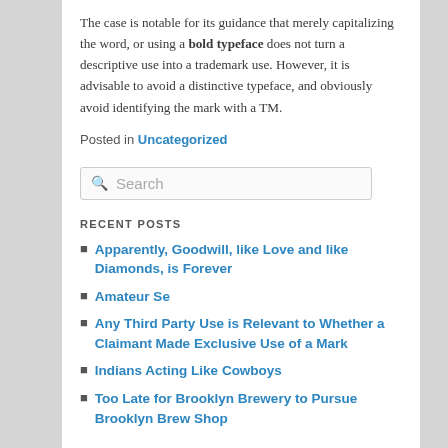The case is notable for its guidance that merely capitalizing the word, or using a bold typeface does not turn a descriptive use into a trademark use. However, it is advisable to avoid a distinctive typeface, and obviously avoid identifying the mark with a TM.
Posted in Uncategorized
Search
RECENT POSTS
Apparently, Goodwill, like Love and like Diamonds, is Forever
Amateur Se
Any Third Party Use is Relevant to Whether a Claimant Made Exclusive Use of a Mark
Indians Acting Like Cowboys
Too Late for Brooklyn Brewery to Pursue Brooklyn Brew Shop